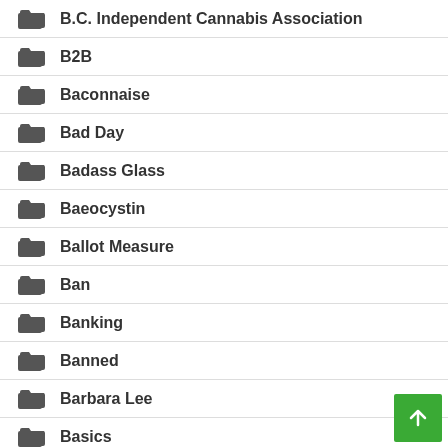B.C. Independent Cannabis Association
B2B
Baconnaise
Bad Day
Badass Glass
Baeocystin
Ballot Measure
Ban
Banking
Banned
Barbara Lee
Basics
Battle